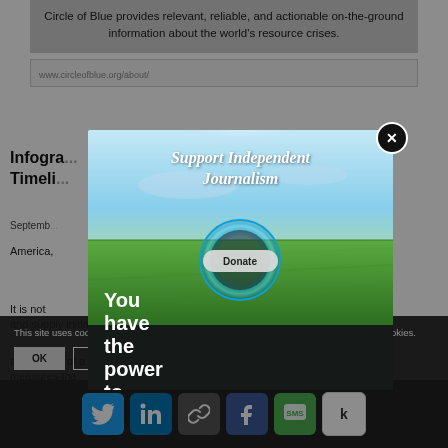Circle of Blue provides relevant, reliable, and actionable on-the-ground information about the world's resource crises.
www.circleofblue.org/about/
Infogra... V Timeli...
Septemb...
America,... of Blue
It is not... anning, and supply initiatives are making a difference.
the resolve of a...esting measures tha... taken close... devastating dry spell in 20...
[Figure (screenshot): Modal popup overlay with 'Support Independent Journalism' headline over a green field landscape photo with a blue circular ring/logo and a 'Donate' button. Bottom dark strip shows 'You have the power to inform' text.]
This site uses cookies. By continuing to browse the site, you are agreeing to our use of cookies.
OK   Learn more
[Figure (infographic): Social sharing bar with Twitter, LinkedIn, Link, Facebook, SMS, and Kinja icons]